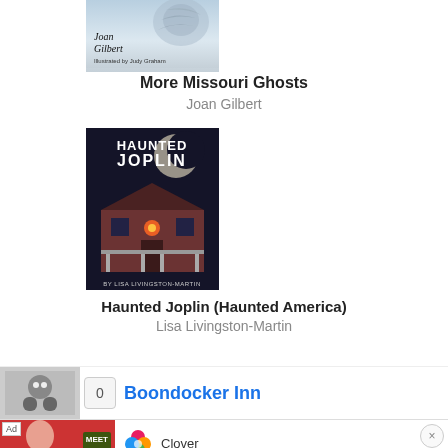[Figure (illustration): Book cover for 'More Missouri Ghosts' by Joan Gilbert, illustrated by Judy Graham. Light blue/grey cover with eagle motif.]
More Missouri Ghosts
Joan Gilbert
[Figure (illustration): Book cover for 'Haunted Joplin (Haunted America)' by Lisa Livingston-Martin. Dark cover with haunted house and glowing light.]
Haunted Joplin (Haunted America)
Lisa Livingston-Martin
0  Boondocker Inn
[Figure (advertisement): Ad banner for Clover dating app with 'Meet Chat Date' text and Clover logo, with Download button and close X button.]